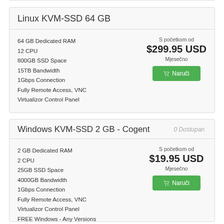Linux KVM-SSD 64 GB
64 GB Dedicated RAM
12 CPU
800GB SSD Space
15TB Bandwidth
1Gbps Connection
Fully Remote Access, VNC
Virtualizor Control Panel
S početkom od $299.95 USD Mjesečno Naruči
Windows KVM-SSD 2 GB - Cogent
0 Dostupan
2 GB Dedicated RAM
2 CPU
25GB SSD Space
4000GB Bandwidth
1Gbps Connection
Fully Remote Access, VNC
Virtualizor Control Panel
FREE Windows - Any Versions
S početkom od $19.95 USD Mjesečno Naruči